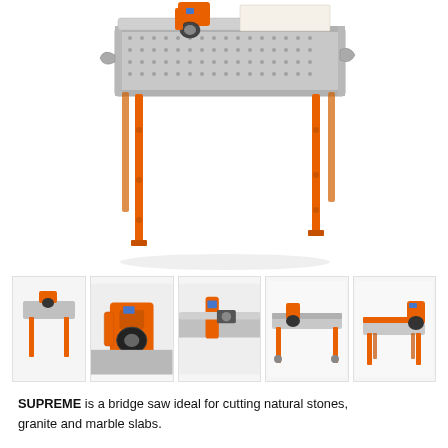[Figure (photo): Main product photo of the SUPREME bridge saw with orange legs and silver metal frame/table top, shown from a 3/4 angle perspective on white background.]
[Figure (photo): Row of five smaller thumbnail photos of the SUPREME bridge saw showing different angles and detail views: front view, close-up of cutting head, side close-up, full side view, and compact version.]
SUPREME is a bridge saw ideal for cutting natural stones, granite and marble slabs.